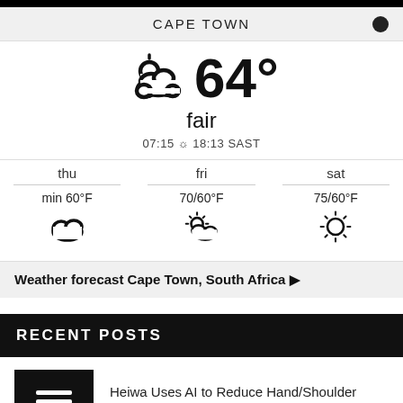CAPE TOWN
[Figure (infographic): Weather widget showing partly cloudy icon, 64°F temperature, 'fair' condition, sunrise 07:15 and sunset 18:13 SAST, and a 3-day forecast: thu min 60°F cloudy, fri 70/60°F partly cloudy, sat 75/60°F sunny]
Weather forecast Cape Town, South Africa ▶
RECENT POSTS
Heiwa Uses AI to Reduce Hand/Shoulder Stress For Hair Professionals